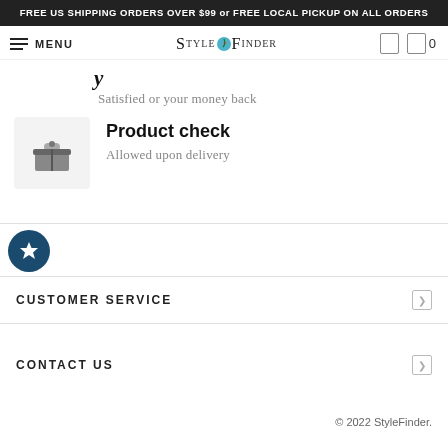FREE US SHIPPING ORDERS OVER $99 or FREE LOCAL PICKUP ON ALL ORDERS
[Figure (screenshot): StyleFinder navigation bar with hamburger menu, logo, and cart icons]
Satisfied or your money back
Product check
Allowed upon delivery
[Figure (logo): Star badge circle icon in dark teal]
CUSTOMER SERVICE
CONTACT US
© 2022 StyleFinder.